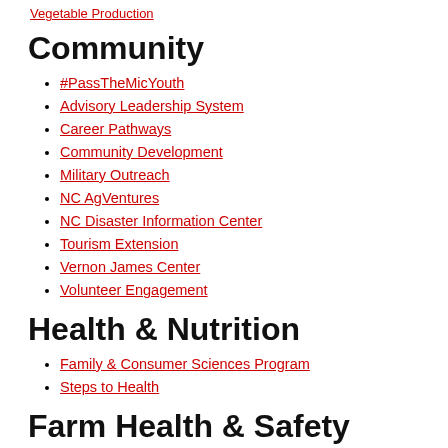Vegetable Production
Community
#PassTheMicYouth
Advisory Leadership System
Career Pathways
Community Development
Military Outreach
NC AgVentures
NC Disaster Information Center
Tourism Extension
Vernon James Center
Volunteer Engagement
Health & Nutrition
Family & Consumer Sciences Program
Steps to Health
Farm Health & Safety